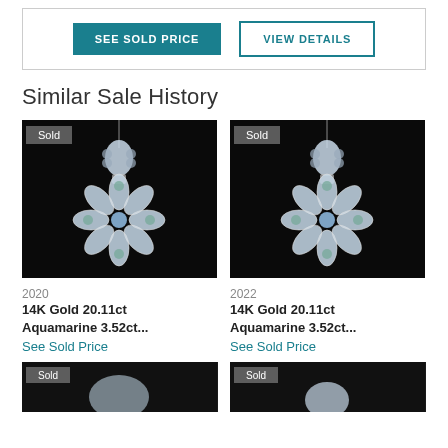SEE SOLD PRICE | VIEW DETAILS
Similar Sale History
[Figure (photo): Jewelry photo: 14K Gold Aquamarine pendant necklace on black background with 'Sold' badge, 2020]
2020
14K Gold 20.11ct Aquamarine 3.52ct...
See Sold Price
[Figure (photo): Jewelry photo: 14K Gold Aquamarine pendant necklace on black background with 'Sold' badge, 2022]
2022
14K Gold 20.11ct Aquamarine 3.52ct...
See Sold Price
[Figure (photo): Partially visible jewelry photo at bottom left]
[Figure (photo): Partially visible jewelry photo at bottom right]